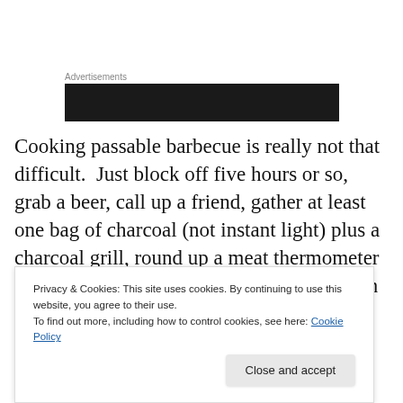Advertisements
[Figure (other): Dark advertisement banner block]
Cooking passable barbecue is really not that difficult.  Just block off five hours or so, grab a beer, call up a friend, gather at least one bag of charcoal (not instant light) plus a charcoal grill, round up a meat thermometer and ideally an oven thermometer to leave in the grill, and make sure you have some hickory chips on hand.  Now all you need
Privacy & Cookies: This site uses cookies. By continuing to use this website, you agree to their use.
To find out more, including how to control cookies, see here: Cookie Policy
Or you can just buy some Scott's or other NC barbecue